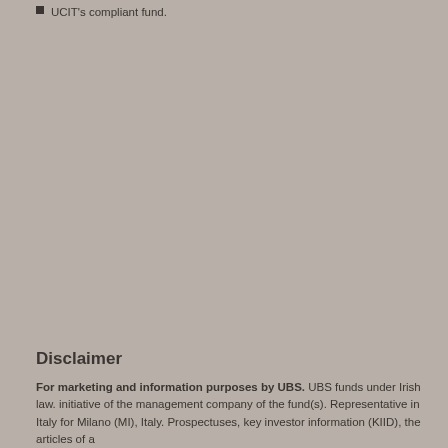UCIT's compliant fund.
Disclaimer
For marketing and information purposes by UBS. UBS funds under Irish law. initiative of the management company of the fund(s). Representative in Italy for Milano (MI), Italy. Prospectuses, key investor information (KIID), the articles of a